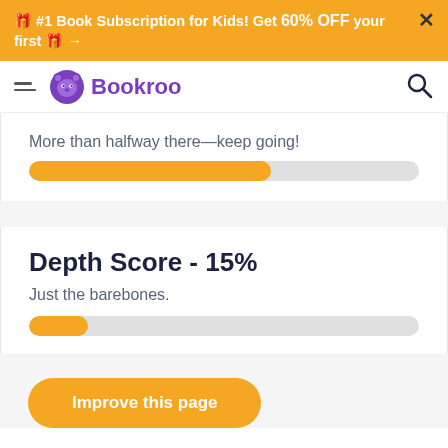🎁 #1 Book Subscription for Kids! Get 60% OFF your first 🎁 →
[Figure (logo): Bookroo logo with purple bear icon and brand name]
More than halfway there—keep going!
[Figure (infographic): Progress bar approximately 60% filled in orange]
Depth Score - 15%
Just the barebones.
[Figure (infographic): Progress bar approximately 15% filled in orange]
Improve this page